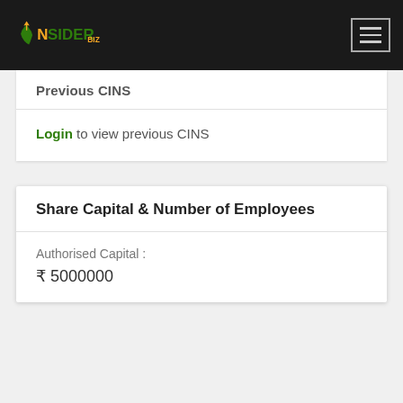[Figure (logo): InsiderBiz logo with India map icon in green and orange text on dark background]
Previous CINS
Login to view previous CINS
Share Capital & Number of Employees
Authorised Capital :
₹ 5000000